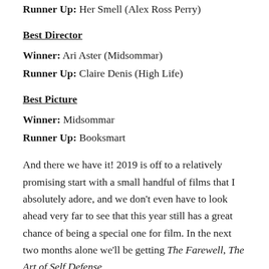Runner Up: Her Smell (Alex Ross Perry)
Best Director
Winner: Ari Aster (Midsommar)
Runner Up: Claire Denis (High Life)
Best Picture
Winner: Midsommar
Runner Up: Booksmart
And there we have it! 2019 is off to a relatively promising start with a small handful of films that I absolutely adore, and we don't even have to look ahead very far to see that this year still has a great chance of being a special one for film. In the next two months alone we'll be getting The Farewell, The Art of Self Defense,